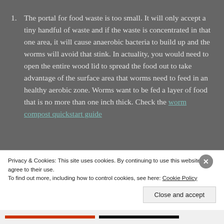The portal for food waste is too small. It will only accept a tiny handful of waste and if the waste is concentrated in that one area, it will cause anaerobic bacteria to build up and the worms will avoid that stink. In actuality, you would need to open the entire wood lid to spread the food out to take advantage of the surface area that worms need to feed in an healthy aerobic zone. Worms want to be fed a layer of food that is no more than one inch thick. Check the worm compost quickstart guide
Privacy & Cookies: This site uses cookies. By continuing to use this website, you agree to their use.
To find out more, including how to control cookies, see here: Cookie Policy